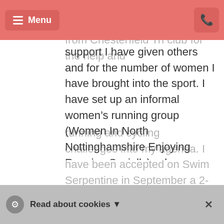Menu [navigation bar]
Harriers AC. I have also been awarded the "best influencer" from Chesterfield Tri club for the help and support I have given others and for the number of women I have brought into the sport. I have set up an informal women's running group (Women In North Nottinghamshire Enjoying Running Socially), where we do funs runs and activities. We did a Christmas Santa run for Women's Refuge and an Easter Event to provide seeds for a garden at the NHS. I do like to prove that you are never to old to do something new. So, I am now putting running and cycling challenges into my agenda. I have been accepted on Swim Serpentine in September a 2-mile swim
Read about cookies